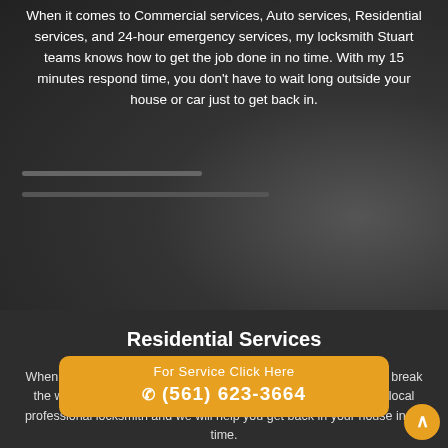When it comes to Commercial services, Auto services, Residential services, and 24-hour emergency services, my locksmith Stuart teams knows how to get the job done in no time. With my 15 minutes respond time, you don't have to wait long outside your house or car just to get back in.
[Figure (photo): Dark background photo of what appears to be a door lock or car door handle, semi-transparent dark overlay]
Residential Services
When you get locked out of your home, there's no need for you to break the windows of your home or go through the doggie door. Call a local professional locksmith and we will help you get back in your house in no time.
For Service Click Here
☎ (561) 623-3664